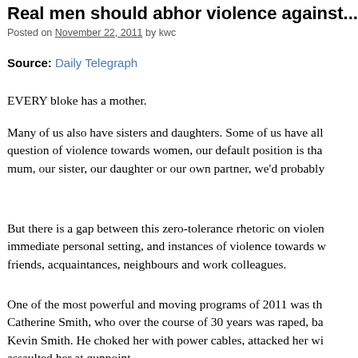Real men should abhor violence against...
Posted on November 22, 2011 by kwc
Source: Daily Telegraph
EVERY bloke has a mother.
Many of us also have sisters and daughters. Some of us have all... question of violence towards women, our default position is tha... mum, our sister, our daughter or our own partner, we'd probably...
But there is a gap between this zero-tolerance rhetoric on violen... immediate personal setting, and instances of violence towards w... friends, acquaintances, neighbours and work colleagues.
One of the most powerful and moving programs of 2011 was th... Catherine Smith, who over the course of 30 years was raped, ba... Kevin Smith. He choked her with power cables, attacked her wi... assaulted her at gunpoint.